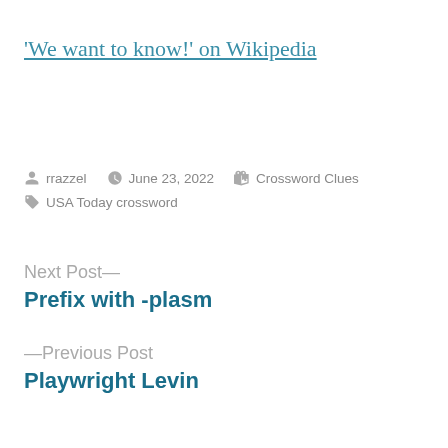'We want to know!' on Wikipedia
Posted by rrazzel   June 23, 2022   Crossword Clues   USA Today crossword
Next Post—
Prefix with -plasm
—Previous Post
Playwright Levin